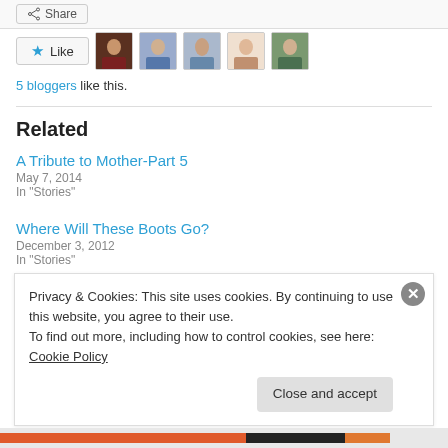[Figure (illustration): Share button at top of page]
[Figure (illustration): Like button with 5 blogger avatar photos]
5 bloggers like this.
Related
A Tribute to Mother-Part 5
May 7, 2014
In "Stories"
Where Will These Boots Go?
December 3, 2012
In "Stories"
Privacy & Cookies: This site uses cookies. By continuing to use this website, you agree to their use.
To find out more, including how to control cookies, see here: Cookie Policy
Close and accept